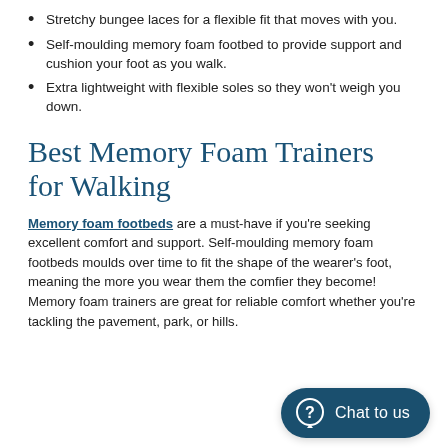Stretchy bungee laces for a flexible fit that moves with you.
Self-moulding memory foam footbed to provide support and cushion your foot as you walk.
Extra lightweight with flexible soles so they won't weigh you down.
Best Memory Foam Trainers for Walking
Memory foam footbeds are a must-have if you're seeking excellent comfort and support. Self-moulding memory foam footbeds moulds over time to fit the shape of the wearer's foot, meaning the more you wear them the comfier they become! Memory foam trainers are great for reliable comfort whether you're tackling the pavement, park, or hills.
[Figure (other): Chat to us button in dark teal with a speech bubble question mark icon]